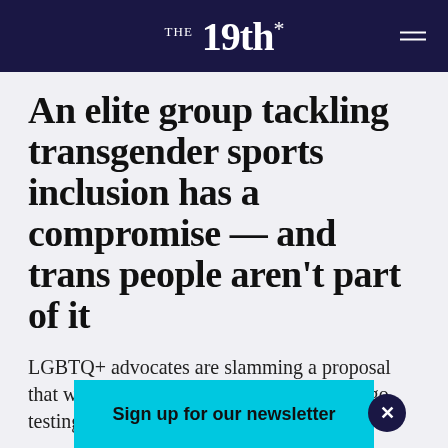THE 19th*
An elite group tackling transgender sports inclusion has a compromise — and trans people aren't part of it
LGBTQ+ advocates are slamming a proposal that would force transgender girls to undergo testing to play school sports.
Sign up for our newsletter